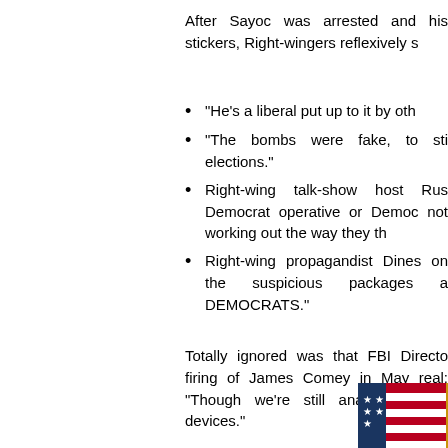After Sayoc was arrested and his stickers, Right-wingers reflexively s
“He’s a liberal put up to it by oth
“The bombs were fake, to sti elections.”
Right-wing talk-show host Rus Democrat operative or Democ not working out the way they th
Right-wing propagandist Dines on the suspicious packages a DEMOCRATS.”
Totally ignored was that FBI Directo firing of James Comey in May real: “Though we’re still analyzing hoax devices.”
[Figure (photo): Partial photo of an American flag with gold fringe, showing stars on blue field]